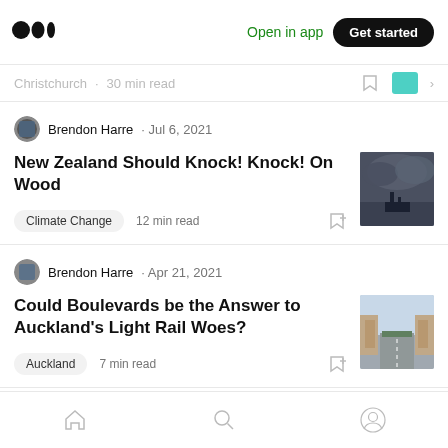Medium logo | Open in app | Get started
Christchurch · 30 min read
Brendon Harre · Jul 6, 2021
New Zealand Should Knock! Knock! On Wood
Climate Change  12 min read
Brendon Harre · Apr 21, 2021
Could Boulevards be the Answer to Auckland's Light Rail Woes?
Auckland  7 min read
Home | Search | Profile